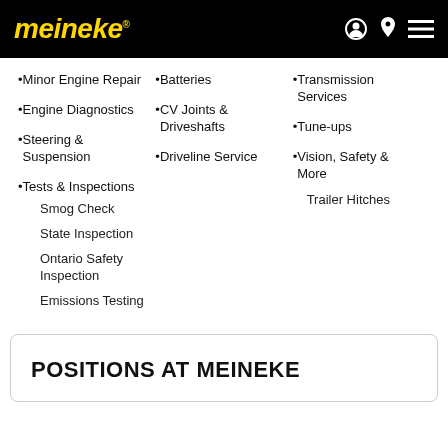meineke
Minor Engine Repair
Engine Diagnostics
Steering & Suspension
Tests & Inspections
Smog Check
State Inspection
Ontario Safety Inspection
Emissions Testing
Batteries
CV Joints & Driveshafts
Driveline Service
Transmission Services
Tune-ups
Vision, Safety & More
Trailer Hitches
POSITIONS AT MEINEKE